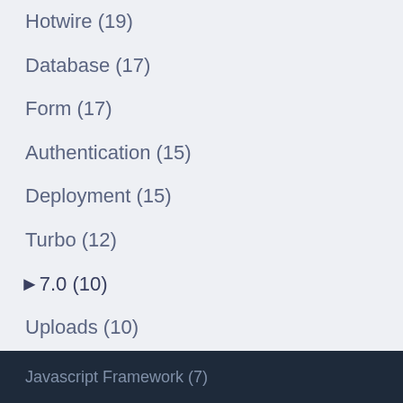Hotwire (19)
Database (17)
Form (17)
Authentication (15)
Deployment (15)
Turbo (12)
▶7.0 (10)
Uploads (10)
Websockets (10)
Background Processing (10)
Ajax (10)
Production (10)
Active Storage (9)
Test (8)
Javascript Framework (7)